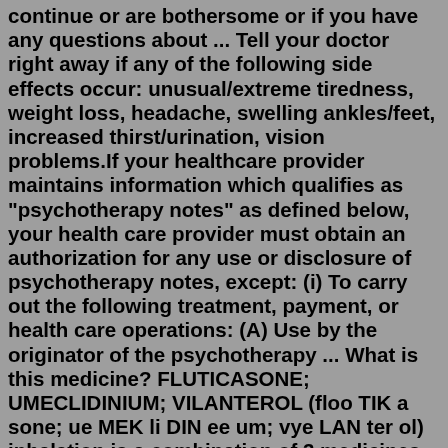continue or are bothersome or if you have any questions about ... Tell your doctor right away if any of the following side effects occur: unusual/extreme tiredness, weight loss, headache, swelling ankles/feet, increased thirst/urination, vision problems.If your healthcare provider maintains information which qualifies as "psychotherapy notes" as defined below, your health care provider must obtain an authorization for any use or disclosure of psychotherapy notes, except: (i) To carry out the following treatment, payment, or health care operations: (A) Use by the originator of the psychotherapy ... What is this medicine? FLUTICASONE; UMECLIDINIUM; VILANTEROL (floo TIK a sone; ue MEK li DIN ee um; vye LAN ter ol) inhalation is a combination of 3 medicines that decrease inflammation and help to open up the airways of your lungs. It is for chronic obstructive pulmonary disease (COPD), including chronic bronchitis or emphysema.For decades, CVS Caremark has pioneered bold approaches to reduce